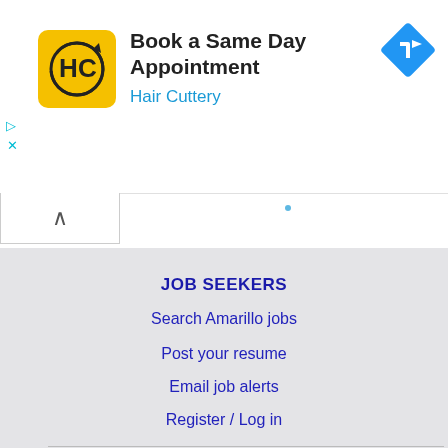[Figure (other): Advertisement banner for Hair Cuttery: logo (yellow square with HC monogram), headline 'Book a Same Day Appointment', subheading 'Hair Cuttery', and a blue diamond navigation icon on the right. Ad controls (triangle/play icon and X) on the left side.]
JOB SEEKERS
Search Amarillo jobs
Post your resume
Email job alerts
Register / Log in